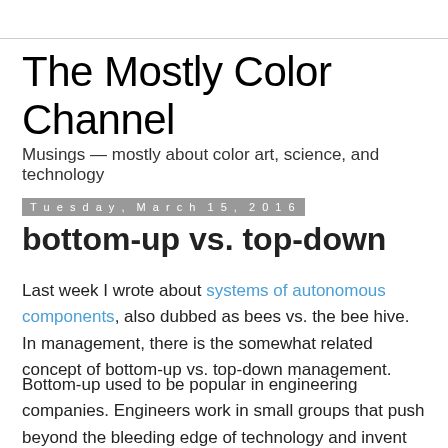The Mostly Color Channel
Musings — mostly about color art, science, and technology
Tuesday, March 15, 2016
bottom-up vs. top-down
Last week I wrote about systems of autonomous components, also dubbed as bees vs. the bee hive. In management, there is the somewhat related concept of bottom-up vs. top-down management.
Bottom-up used to be popular in engineering companies. Engineers work in small groups that push beyond the bleeding edge of technology and invent new product concepts. As the product evolves, more people are recruited and the product is polished by UX experts, manufacturability experts, marketing and sales teams, etc.